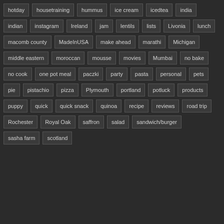hotday
housetraining
hummus
ice cream
icedtea
india
indian
instagram
Ireland
jam
lentils
lists
Livonia
lunch
macomb county
MadeInUSA
make ahead
marathi
Michigan
middle eastern
moroccan
mousse
movies
Mumbai
no bake
no cook
one pot meal
paczki
party
pasta
personal
pets
pie
pistachio
pizza
Plymouth
portland
potluck
products
puppy
quick
quick snack
quinoa
recipe
reviews
road trip
Rochester
Royal Oak
saffron
salad
sandwich/burger
sasha farm
scotland